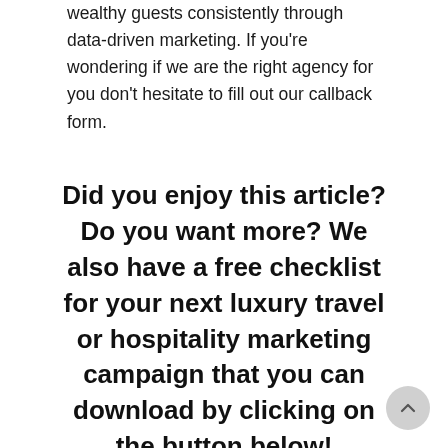wealthy guests consistently through data-driven marketing. If you're wondering if we are the right agency for you don't hesitate to fill out our callback form.
Did you enjoy this article? Do you want more? We also have a free checklist for your next luxury travel or hospitality marketing campaign that you can download by clicking on the button below!